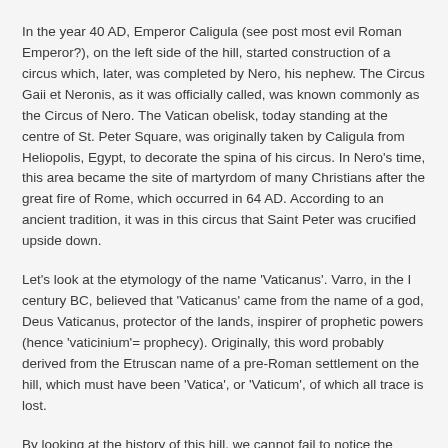In the year 40 AD, Emperor Caligula (see post most evil Roman Emperor?), on the left side of the hill, started construction of a circus which, later, was completed by Nero, his nephew. The Circus Gaii et Neronis, as it was officially called, was known commonly as the Circus of Nero. The Vatican obelisk, today standing at the centre of St. Peter Square, was originally taken by Caligula from Heliopolis, Egypt, to decorate the spina of his circus. In Nero's time, this area became the site of martyrdom of many Christians after the great fire of Rome, which occurred in 64 AD. According to an ancient tradition, it was in this circus that Saint Peter was crucified upside down.
Let's look at the etymology of the name 'Vaticanus'. Varro, in the I century BC, believed that 'Vaticanus' came from the name of a god, Deus Vaticanus, protector of the lands, inspirer of prophetic powers (hence 'vaticinium'= prophecy). Originally, this word probably derived from the Etruscan name of a pre-Roman settlement on the hill, which must have been 'Vatica', or 'Vaticum', of which all trace is lost.
By looking at the history of this hill, we cannot fail to notice the